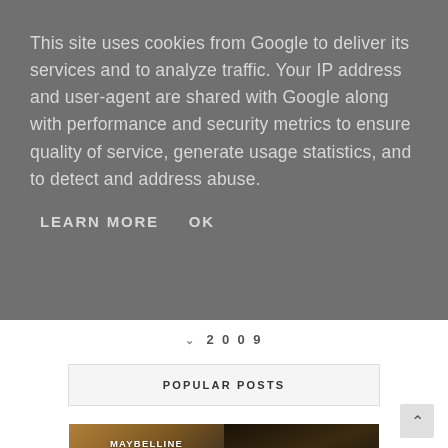This site uses cookies from Google to deliver its services and to analyze traffic. Your IP address and user-agent are shared with Google along with performance and security metrics to ensure quality of service, generate usage statistics, and to detect and address abuse.
LEARN MORE
OK
▾ 2009
POPULAR POSTS
[Figure (photo): Grid of popular post thumbnail images: top-left shows Maybelline EyeStudio product, top-right shows Pretty Reckless performer, bottom-left shows Exploring scene with horse/animal, bottom-right shows partially visible Taylor-related image]